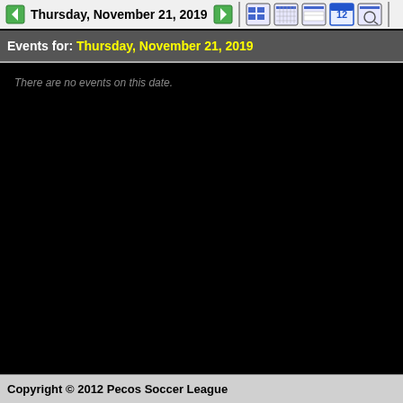Thursday, November 21, 2019
Events for: Thursday, November 21, 2019
There are no events on this date.
Copyright © 2012 Pecos Soccer League